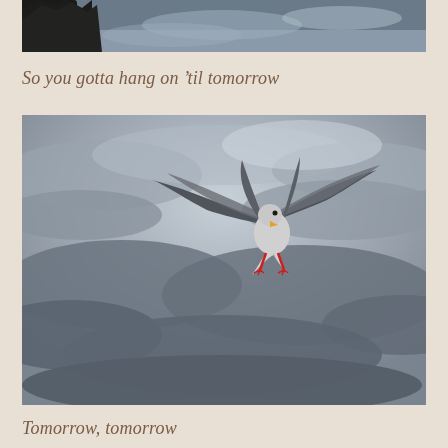[Figure (photo): Partial top photo showing dark tree silhouettes against a cloudy sky, cropped at the bottom]
So you gotta hang on 'til tomorrow
[Figure (photo): A seagull with wings spread wide flying against a dramatic dark cloudy sky]
Tomorrow, tomorrow